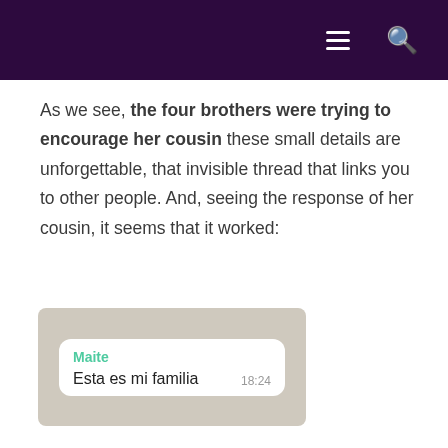Navigation header with hamburger menu and search icon
As we see, the four brothers were trying to encourage her cousin these small details are unforgettable, that invisible thread that links you to other people. And, seeing the response of her cousin, it seems that it worked:
[Figure (screenshot): WhatsApp chat message screenshot showing sender 'Maite' with message 'Esta es mi familia' and timestamp 18:24]